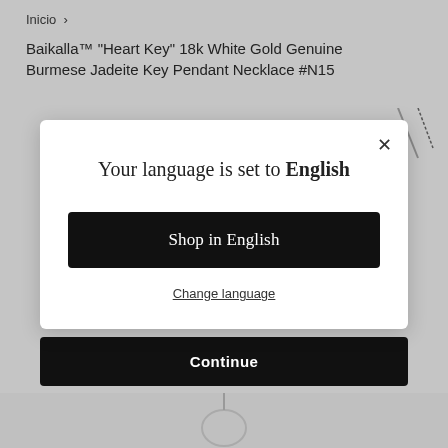Inicio  ›
Baikalla™ "Heart Key" 18k White Gold Genuine Burmese Jadeite Key Pendant Necklace #N15
[Figure (screenshot): Partial view of necklace product images in background]
Your language is set to English
Shop in English
Change language
Continue
[Figure (photo): Small product image at bottom of page]